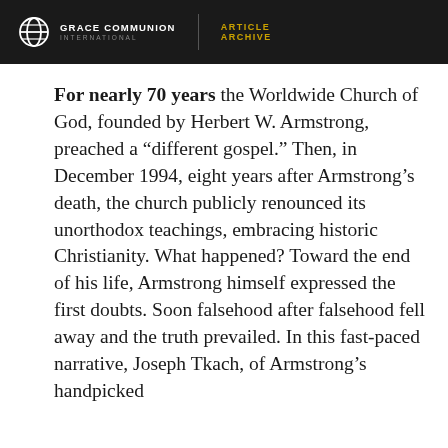GRACE COMMUNION INTERNATIONAL | ARTICLE ARCHIVE
For nearly 70 years the Worldwide Church of God, founded by Herbert W. Armstrong, preached a “different gospel.” Then, in December 1994, eight years after Armstrong’s death, the church publicly renounced its unorthodox teachings, embracing historic Christianity. What happened? Toward the end of his life, Armstrong himself expressed the first doubts. Soon falsehood after falsehood fell away and the truth prevailed. In this fast-paced narrative, Joseph Tkach, of Armstrong’s handpicked